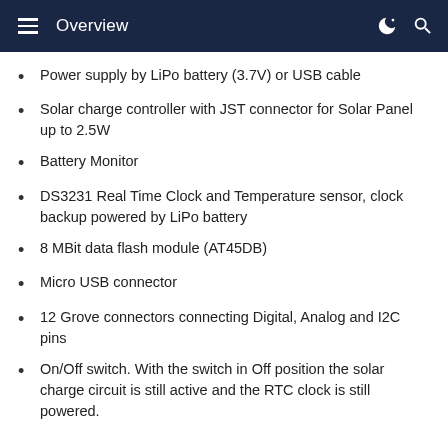Overview
Power supply by LiPo battery (3.7V) or USB cable
Solar charge controller with JST connector for Solar Panel up to 2.5W
Battery Monitor
DS3231 Real Time Clock and Temperature sensor, clock backup powered by LiPo battery
8 MBit data flash module (AT45DB)
Micro USB connector
12 Grove connectors connecting Digital, Analog and I2C pins
On/Off switch. With the switch in Off position the solar charge circuit is still active and the RTC clock is still powered.